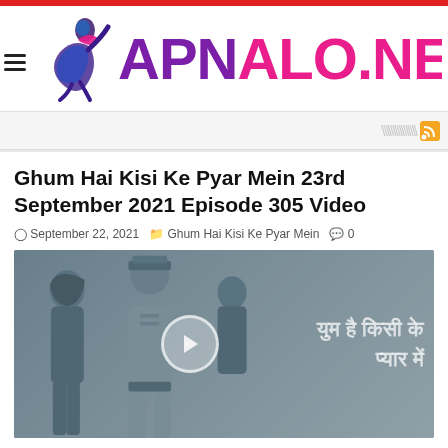[Figure (logo): APNALO.NET website logo with dancer icon and colorful text]
[Figure (other): RSS feed icon with diagonal lines pattern]
Ghum Hai Kisi Ke Pyar Mein 23rd September 2021 Episode 305 Video
September 22, 2021   Ghum Hai Kisi Ke Pyar Mein   0
[Figure (screenshot): Video thumbnail showing characters from Ghum Hai Kisi Ke Pyar Mein with Hindi text and play button]